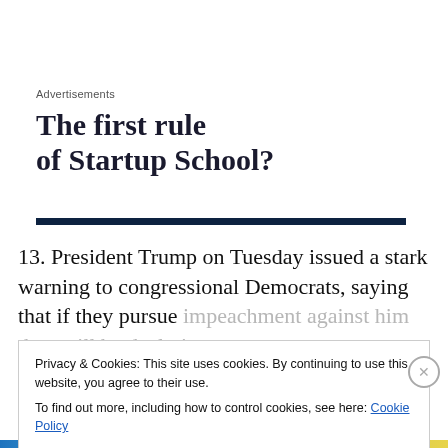Advertisements
The first rule of Startup School?
13. President Trump on Tuesday issued a stark warning to congressional Democrats, saying that if they pursue impeachment against him they will be declaring war on
Privacy & Cookies: This site uses cookies. By continuing to use this website, you agree to their use.
To find out more, including how to control cookies, see here: Cookie Policy
Close and accept